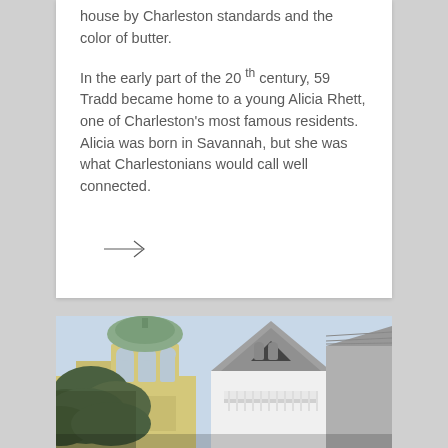house by Charleston standards and the color of butter.
In the early part of the 20 th century, 59 Tradd became home to a young Alicia Rhett, one of Charleston's most famous residents. Alicia was born in Savannah, but she was what Charlestonians would call well connected.
[Figure (other): Arrow pointing right (navigation arrow)]
[Figure (photo): Photograph of historic Charleston rooftops showing a white Victorian house with a decorative cupola with green patina roof, white gabled dormer with balcony, and grey slate-shingled roof. Palm trees and tropical vegetation visible in the foreground.]